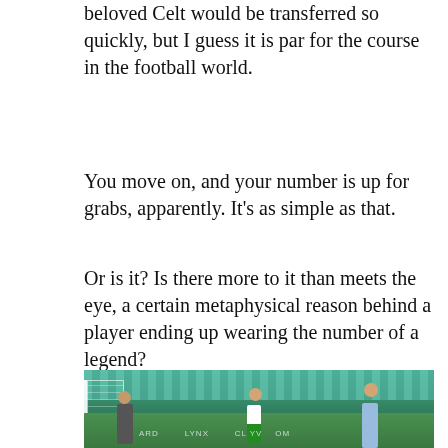beloved Celt would be transferred so quickly, but I guess it is par for the course in the football world.
You move on, and your number is up for grabs, apparently. It's as simple as that.
Or is it? Is there more to it than meets the eye, a certain metaphysical reason behind a player ending up wearing the number of a legend?
[Figure (photo): Football match action photo showing a Celtic player in green and white hooped jersey attempting a shot at goal, a goalkeeper in grey diving to make a save, and another player in blue kit celebrating in the background. The stadium has green seats visible and an advertising hoarding at the bottom.]